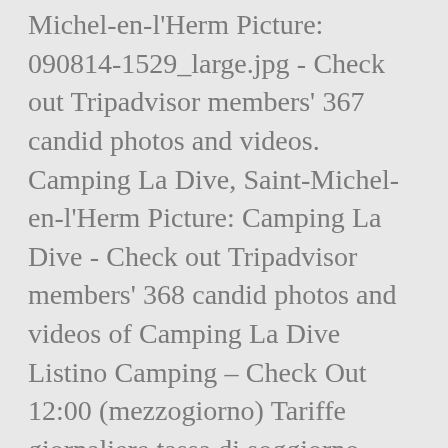Michel-en-l'Herm Picture: 090814-1529_large.jpg - Check out Tripadvisor members' 367 candid photos and videos. Camping La Dive, Saint-Michel-en-l'Herm Picture: Camping La Dive - Check out Tripadvisor members' 368 candid photos and videos of Camping La Dive Listino Camping – Check Out 12:00 (mezzogiorno) Tariffe giornaliere tassa di soggiorno esclusa: Promo . Camping La Dive: great site for families - See 333 traveller reviews, 144 candid photos, and great deals for Camping La Dive at Tripadvisor. Camping La Dive, Saint-Michel-en-l'Herm Picture: mini golf - Check out Tripadvisor members' 367 candid photos and